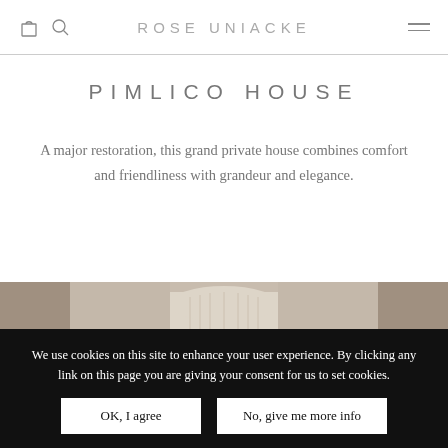ROSE UNIACKE
PIMLICO HOUSE
A major restoration, this grand private house combines comfort and friendliness with grandeur and elegance.
[Figure (photo): Interior room photo showing an upholstered headboard or arch-shaped furniture piece with side panels, in neutral tones]
We use cookies on this site to enhance your user experience. By clicking any link on this page you are giving your consent for us to set cookies.